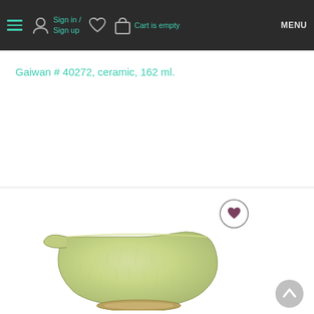Sign in / Sign up  Cart is empty  MENU
Gaiwan # 40272, ceramic, 162 ml.
[Figure (photo): A pale green celadon ceramic Gaiwan (Chinese tea vessel) bowl with a textured crackle glaze, viewed from the side showing a small spout. A circular wishlist heart button appears in the upper right corner of the product image area. A gray scroll-to-top chevron button appears at the bottom right.]